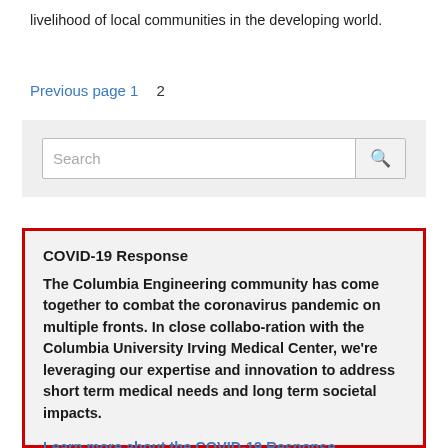livelihood of local communities in the developing world.
Previous page 1   2
Search
COVID-19 Response
The Columbia Engineering community has come together to combat the coronavirus pandemic on multiple fronts. In close collabo-ration with the Columbia University Irving Medical Center, we're leveraging our expertise and innovation to address short term medical needs and long term societal impacts.
Learn more about the COVID-19 Response